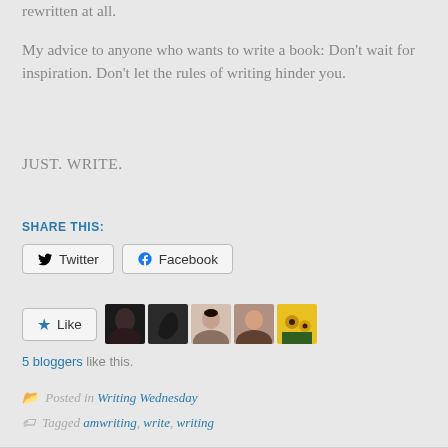rewritten at all.
My advice to anyone who wants to write a book: Don't wait for inspiration. Don't let the rules of writing hinder you.
JUST. WRITE.
SHARE THIS:
[Figure (screenshot): Twitter and Facebook share buttons]
[Figure (screenshot): Like button with 5 blogger avatars]
5 bloggers like this.
Posted in Writing Wednesday
Tagged amwriting, write, writing